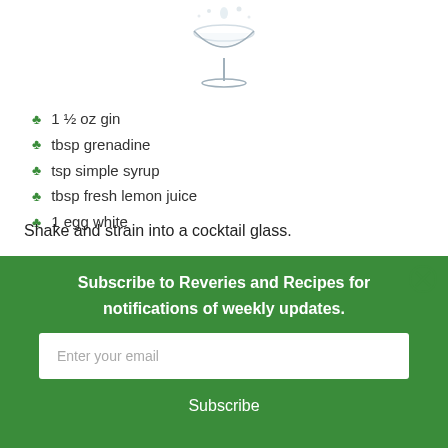[Figure (photo): Partial top view of a cocktail glass with decorative liquid splash, cropped at top]
1 ½ oz gin
tbsp grenadine
tsp simple syrup
tbsp fresh lemon juice
1 egg white
Shake and strain into a cocktail glass.
Subscribe to Reveries and Recipes for notifications of weekly updates.
Enter your email
Subscribe